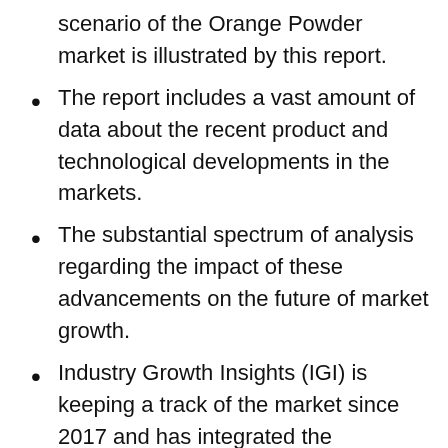scenario of the Orange Powder market is illustrated by this report.
The report includes a vast amount of data about the recent product and technological developments in the markets.
The substantial spectrum of analysis regarding the impact of these advancements on the future of market growth.
Industry Growth Insights (IGI) is keeping a track of the market since 2017 and has integrated the necessary historical data & analysis into the research report. Therefore, any additional data requirement can be easily fulfilled.
The insights in the report are easy to